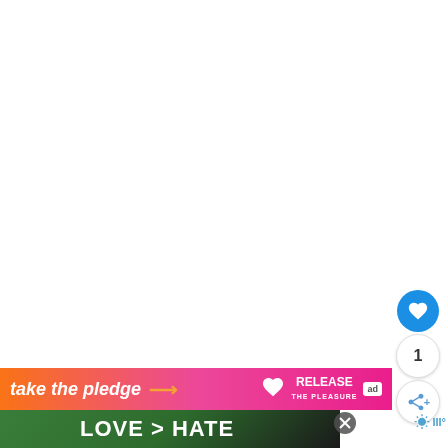[Figure (other): White blank area occupying most of the page]
[Figure (infographic): UI floating action buttons: blue heart/like button with count 1 and share button on right side]
[Figure (infographic): Advertisement banner with orange-to-pink gradient reading 'take the pledge' with arrow and Release The Pleasure logo and ad badge]
[Figure (photo): Dark banner showing hands forming a heart shape with text 'LOVE > HATE' on dark/green background, with close X button and weather widget showing temperature]